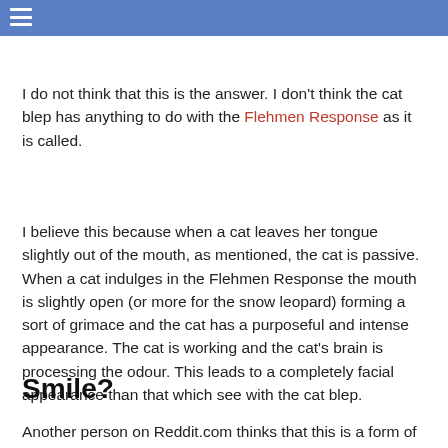≡
making the cat able to smell things very accurately.
I do not think that this is the answer. I don't think the cat blep has anything to do with the Flehmen Response as it is called.
I believe this because when a cat leaves her tongue slightly out of the mouth, as mentioned, the cat is passive. When a cat indulges in the Flehmen Response the mouth is slightly open (or more for the snow leopard) forming a sort of grimace and the cat has a purposeful and intense appearance. The cat is working and the cat's brain is processing the odour. This leads to a completely facial appearance than that which see with the cat blep.
Smile?
Another person on Reddit.com thinks that this is a form of